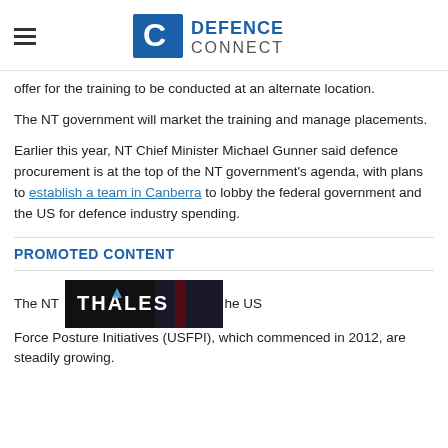DEFENCE CONNECT
offer for the training to be conducted at an alternate location.
The NT government will market the training and manage placements.
Earlier this year, NT Chief Minister Michael Gunner said defence procurement is at the top of the NT government's agenda, with plans to establish a team in Canberra to lobby the federal government and the US for defence industry spending.
PROMOTED CONTENT
The NT [Thales banner] he US Force Posture Initiatives (USFPI), which commenced in 2012, are steadily growing.
[Figure (logo): Thales advertisement banner with logo and soldier imagery]